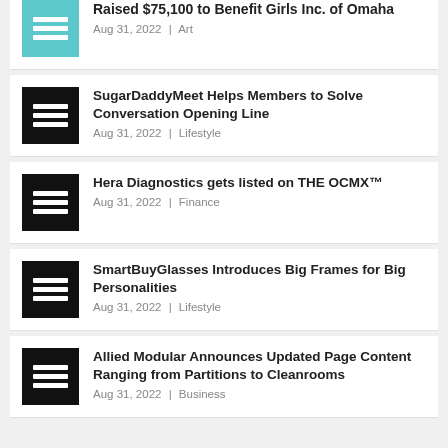Original Artwork, Signed by Warren Buffett, Raised $75,100 to Benefit Girls Inc. of Omaha
Aug 31, 2022 | Art
SugarDaddyMeet Helps Members to Solve Conversation Opening Line
Aug 31, 2022 | Lifestyle
Hera Diagnostics gets listed on THE OCMX™
Aug 31, 2022 | Finance
SmartBuyGlasses Introduces Big Frames for Big Personalities
Aug 31, 2022 | Lifestyle
Allied Modular Announces Updated Page Content Ranging from Partitions to Cleanrooms
Aug 31, 2022 | Business